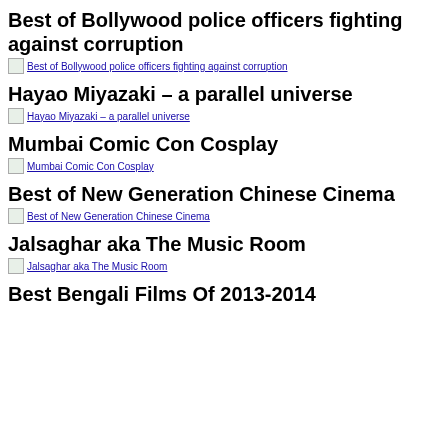Best of Bollywood police officers fighting against corruption
[Figure (other): Thumbnail image link: Best of Bollywood police officers fighting against corruption]
Hayao Miyazaki – a parallel universe
[Figure (other): Thumbnail image link: Hayao Miyazaki – a parallel universe]
Mumbai Comic Con Cosplay
[Figure (other): Thumbnail image link: Mumbai Comic Con Cosplay]
Best of New Generation Chinese Cinema
[Figure (other): Thumbnail image link: Best of New Generation Chinese Cinema]
Jalsaghar aka The Music Room
[Figure (other): Thumbnail image link: Jalsaghar aka The Music Room]
Best Bengali Films Of 2013-2014